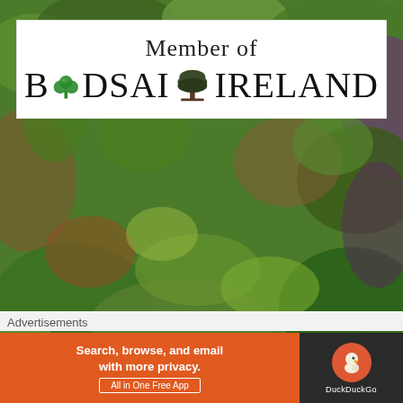[Figure (illustration): Background photo of green and reddish-purple foliage/trees]
[Figure (logo): White banner with 'Member of Bonsai Ireland' text logo including shamrock and tree icons]
[Figure (illustration): Bonsai Ireland 'One to One' illustration: skeleton figure watering a bonsai tree in front of a red circle (Japanese sun), with colored text blocks reading ONE TO ONE]
Advertisements
[Figure (screenshot): DuckDuckGo advertisement banner: 'Search, browse, and email with more privacy. All in One Free App' with DuckDuckGo logo on dark background]